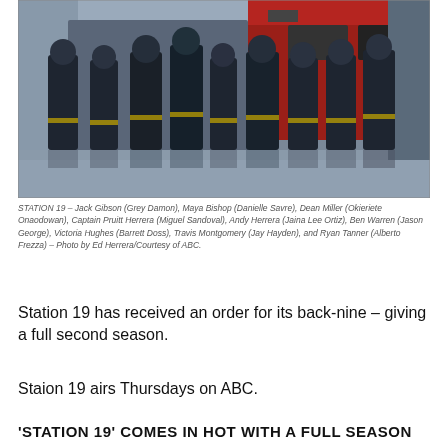[Figure (photo): Group photo of the cast of Station 19 standing in front of a fire truck in a firehouse, wearing dark navy firefighter uniforms with yellow stripes on the pants.]
STATION 19 – Jack Gibson (Grey Damon), Maya Bishop (Danielle Savre), Dean Miller (Okieriete Onaodowan), Captain Pruitt Herrera (Miguel Sandoval), Andy Herrera (Jaina Lee Ortiz), Ben Warren (Jason George), Victoria Hughes (Barrett Doss), Travis Montgomery (Jay Hayden), and Ryan Tanner (Alberto Frezza) – Photo by Ed Herrera/Courtesy of ABC.
Station 19 has received an order for its back-nine – giving a full second season.
Staion 19 airs Thursdays on ABC.
'STATION 19' COMES IN HOT WITH A FULL SEASON